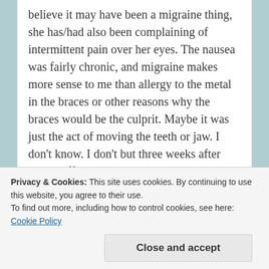believe it may have been a migraine thing, she has/had also been complaining of intermittent pain over her eyes. The nausea was fairly chronic, and migraine makes more sense to me than allergy to the metal in the braces or other reasons why the braces would be the culprit. Maybe it was just the act of moving the teeth or jaw. I don't know. I don't but three weeks after taking off the braces, the nausea is slowly becoming a memory so, yeah that's weird, but everything with us seems to be weird. I
Privacy & Cookies: This site uses cookies. By continuing to use this website, you agree to their use.
To find out more, including how to control cookies, see here: Cookie Policy
Close and accept